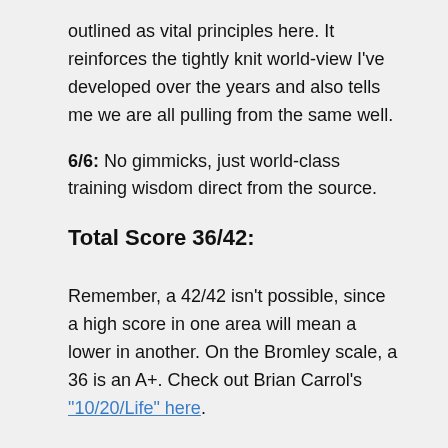outlined as vital principles here. It reinforces the tightly knit world-view I've developed over the years and also tells me we are all pulling from the same well.
6/6: No gimmicks, just world-class training wisdom direct from the source.
Total Score 36/42:
Remember, a 42/42 isn't possible, since a high score in one area will mean a lower in another. On the Bromley scale, a 36 is an A+. Check out Brian Carrol's "10/20/Life" here.